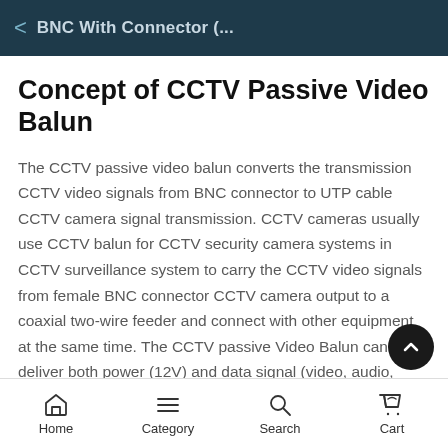BNC With Connector (...
Concept of CCTV Passive Video Balun
The CCTV passive video balun converts the transmission CCTV video signals from BNC connector to UTP cable CCTV camera signal transmission. CCTV cameras usually use CCTV balun for CCTV security camera systems in CCTV surveillance system to carry the CCTV video signals from female BNC connector CCTV camera output to a coaxial two-wire feeder and connect with other equipment at the same time. The CCTV passive Video Balun can deliver both power (12V) and data signal (video, audio,
Home  Category  Search  Cart